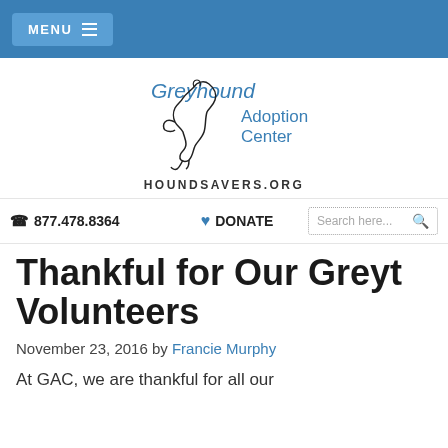MENU
[Figure (logo): Greyhound Adoption Center logo with a stylized greyhound dog silhouette and text 'Greyhound Adoption Center']
HOUNDSAVERS.ORG
877.478.8364   DONATE   Search here...
Thankful for Our Greyt Volunteers
November 23, 2016 by Francie Murphy
At GAC, we are thankful for all our